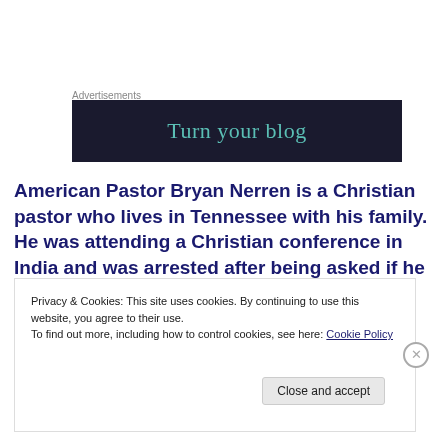Advertisements
[Figure (other): Dark navy advertisement banner with teal text reading 'Turn your blog']
American Pastor Bryan Nerren is a Christian pastor who lives in Tennessee with his family. He was attending a Christian conference in India and was arrested after being asked if he was a Christian. He
Privacy & Cookies: This site uses cookies. By continuing to use this website, you agree to their use.
To find out more, including how to control cookies, see here: Cookie Policy
Close and accept